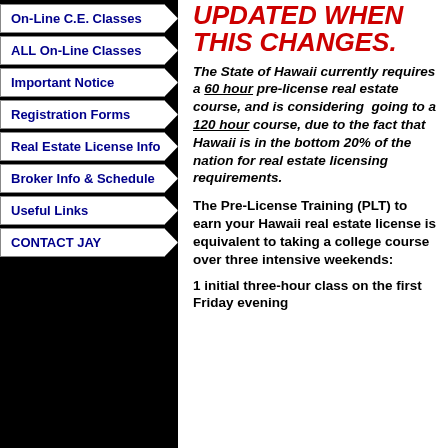On-Line C.E. Classes
ALL On-Line Classes
Important Notice
Registration Forms
Real Estate License Info
Broker Info & Schedule
Useful Links
CONTACT JAY
UPDATED WHEN THIS CHANGES.
The State of Hawaii currently requires a 60 hour pre-license real estate course, and is considering going to a 120 hour course, due to the fact that Hawaii is in the bottom 20% of the nation for real estate licensing requirements.
The Pre-License Training (PLT) to earn your Hawaii real estate license is equivalent to taking a college course over three intensive weekends:
1 initial three-hour class on the first Friday evening